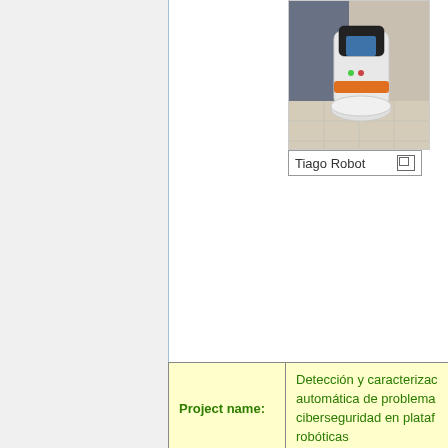[Figure (photo): Photo of a Tiago Robot — a white and orange mobile robot with a cylindrical torso, in an indoor setting]
Tiago Robot
| Project name: | Detección y caracterización automática de problemas de ciberseguridad en plataformas robóticas |
|  | The main goal of this project is to develop automated and adaptable systems for detecting cyber attacks to robotic systems.

Advanced methodologies and tools will be developed for modeling, simulating and... |